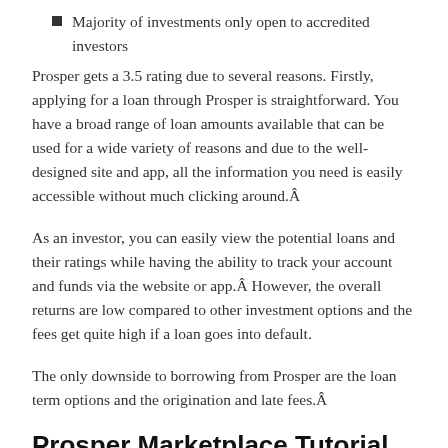Majority of investments only open to accredited investors
Prosper gets a 3.5 rating due to several reasons. Firstly, applying for a loan through Prosper is straightforward. You have a broad range of loan amounts available that can be used for a wide variety of reasons and due to the well-designed site and app, all the information you need is easily accessible without much clicking around.Â
As an investor, you can easily view the potential loans and their ratings while having the ability to track your account and funds via the website or app.Â However, the overall returns are low compared to other investment options and the fees get quite high if a loan goes into default.
The only downside to borrowing from Prosper are the loan term options and the origination and late fees.Â
Prosper Marketplace Tutorial